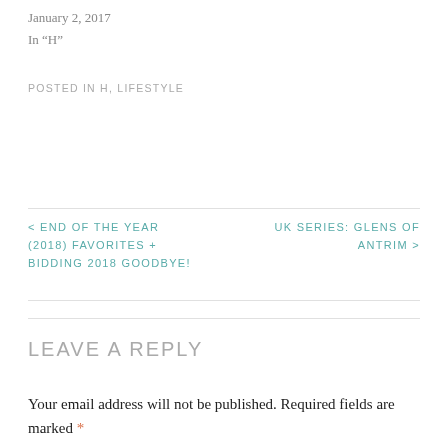January 2, 2017
In "H"
POSTED IN H, LIFESTYLE
< END OF THE YEAR (2018) FAVORITES + BIDDING 2018 GOODBYE!
UK SERIES: GLENS OF ANTRIM >
LEAVE A REPLY
Your email address will not be published. Required fields are marked *